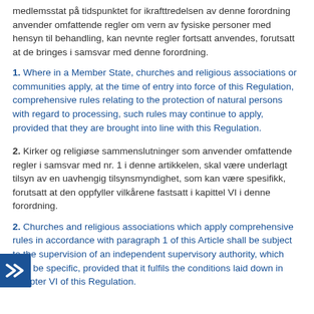medlemsstat på tidspunktet for ikrafttredelsen av denne forordning anvender omfattende regler om vern av fysiske personer med hensyn til behandling, kan nevnte regler fortsatt anvendes, forutsatt at de bringes i samsvar med denne forordning.
1. Where in a Member State, churches and religious associations or communities apply, at the time of entry into force of this Regulation, comprehensive rules relating to the protection of natural persons with regard to processing, such rules may continue to apply, provided that they are brought into line with this Regulation.
2. Kirker og religiøse sammenslutninger som anvender omfattende regler i samsvar med nr. 1 i denne artikkelen, skal være underlagt tilsyn av en uavhengig tilsynsmyndighet, som kan være spesifikk, forutsatt at den oppfyller vilkårene fastsatt i kapittel VI i denne forordning.
2. Churches and religious associations which apply comprehensive rules in accordance with paragraph 1 of this Article shall be subject to the supervision of an independent supervisory authority, which may be specific, provided that it fulfils the conditions laid down in Chapter VI of this Regulation.